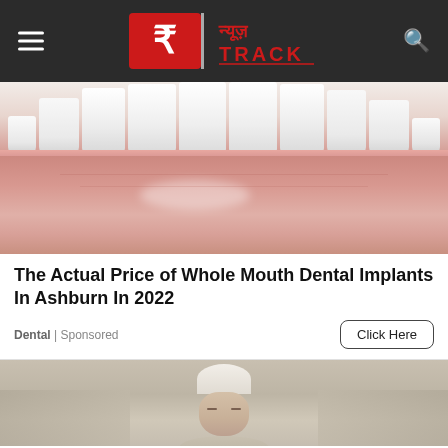न्यूज़ TRACK
[Figure (photo): Close-up photograph of a person's mouth showing white teeth and glossy lower lip]
The Actual Price of Whole Mouth Dental Implants In Ashburn In 2022
Dental | Sponsored
[Figure (photo): Photograph of an elderly person with white hair, eyes closed, resting]